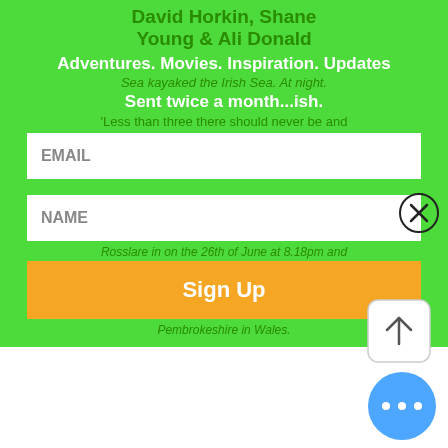[Figure (screenshot): Mobile app screenshot showing a newsletter signup modal overlay on a green background with email/name input fields and a Sign Up button, plus a lower section with 'Join us on the Spaces by Wix app' bar, a white content area, an upload arrow button, and a blue more-options button.]